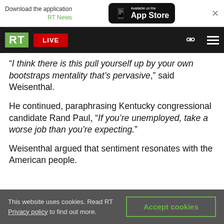[Figure (screenshot): App download banner: 'Download the application RT News' with App Store button]
[Figure (screenshot): RT News navigation bar with green RT logo, red LIVE button, search icon, and hamburger menu]
“I think there is this pull yourself up by your own bootstraps mentality that’s pervasive,” said Weisenthal.
He continued, paraphrasing Kentucky congressional candidate Rand Paul, “If you’re unemployed, take a worse job than you’re expecting.”
Weisenthal argued that sentiment resonates with the American people.
This website uses cookies. Read RT Privacy policy to find out more.